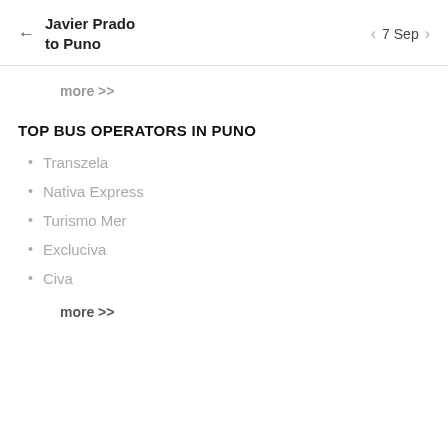Javier Prado to Puno   ← | < 7 Sep >
more >>
TOP BUS OPERATORS IN PUNO
Transzela
Nativa Express
Turismo Mer
Excluciva
Civa
more >>